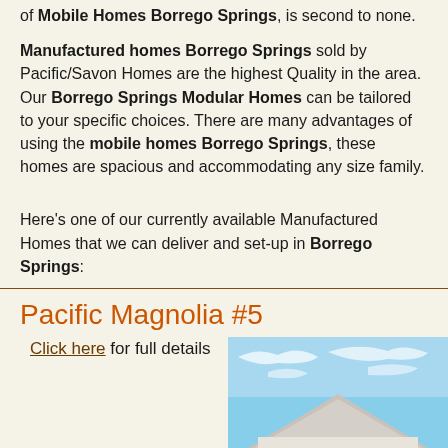of Mobile Homes Borrego Springs, is second to none.
Manufactured homes Borrego Springs sold by Pacific/Savon Homes are the highest Quality in the area. Our Borrego Springs Modular Homes can be tailored to your specific choices. There are many advantages of using the mobile homes Borrego Springs, these homes are spacious and accommodating any size family.
Here's one of our currently available Manufactured Homes that we can deliver and set-up in Borrego Springs:
Pacific Magnolia #5
Click here for full details
[Figure (photo): Photo of a manufactured home exterior showing the roofline against a blue sky with wispy clouds]